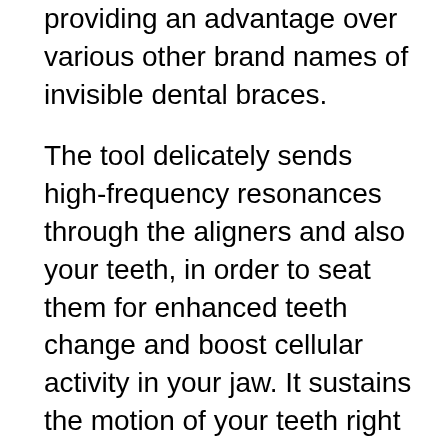providing an advantage over various other brand names of invisible dental braces.
The tool delicately sends high-frequency resonances through the aligners and also your teeth, in order to seat them for enhanced teeth change and boost cellular activity in your jaw. It sustains the motion of your teeth right into the appropriate placement while decreasing pain and boosting the fit of your aligners.
The HyperByte is a hassle-free addition to your early morning or nighttime routine. With your aligners in, delicately realize the HyperByte with your teeth and also let it run for five mins. If you select Byte at Night, run it for 10 mins.